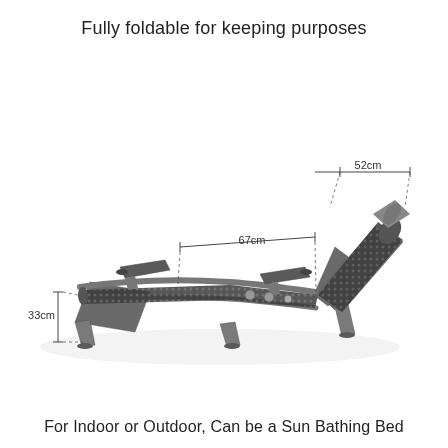Fully foldable for keeping purposes
[Figure (photo): A folding recliner/sun lounger chair with a woven mesh surface and metal frame shown in a reclined position. Dimension annotations indicate 52cm width at the top/backrest area, 67cm length of the seat area, and 33cm height from ground.]
For Indoor or Outdoor, Can be a Sun Bathing Bed